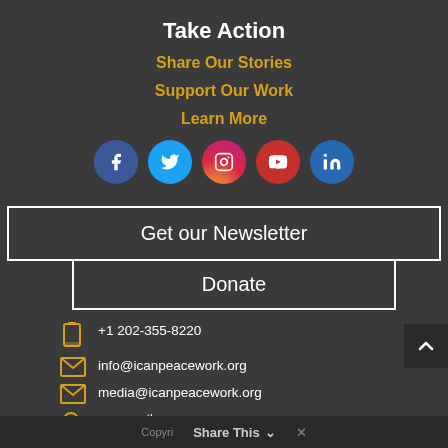Take Action
Share Our Stories
Support Our Work
Learn More
[Figure (infographic): Row of 5 social media icons: Facebook (blue circle), Twitter (cyan circle), Instagram (pink/red gradient circle), YouTube (red circle), LinkedIn (blue circle)]
Get our Newsletter
Donate
+1 202-355-8220
info@icanpeacework.org
media@icanpeacework.org
1126 16th Street NW Suite 250, Washington, DC 20036
Copyright Share This ×